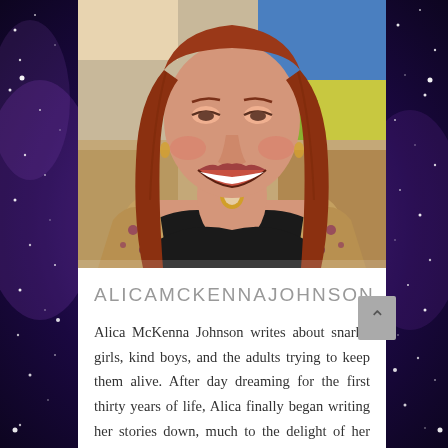[Figure (photo): Portrait photo of Alica McKenna Johnson, a smiling woman with long red hair, wearing a black top with a floral wrap/shawl and a gold necklace with a pendant. Background includes colorful artwork in blue, yellow, and green.]
ALICAMCKENNAJOHNSON
Alica McKenna Johnson writes about snarky girls, kind boys, and the adults trying to keep them alive. After day dreaming for the first thirty years of life, Alica finally began writing her stories down, much to the delight of her readers. As Alica sits in her armchair at home dreaming of traveling the world, her diverse characters